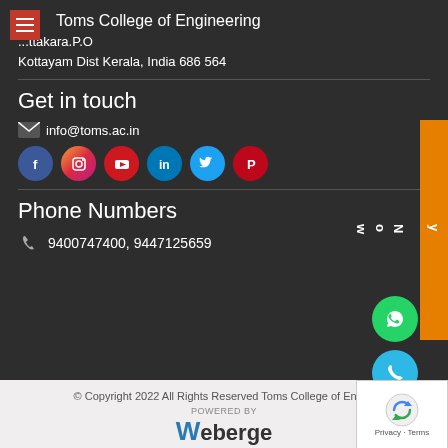Toms College of Engineering
...ttakara.P.O
Kottayam Dist Kerala, India 686 564
Get in touch
info@toms.ac.in
[Figure (infographic): Social media icons: Facebook, Instagram, YouTube, LinkedIn, Twitter, Pinterest]
Phone Numbers
9400747400, 9447125659
© Copyright 2022 All Rights Reserved Toms College of Engi...
[Figure (logo): Weberge logo - POWERED BY Weberge WEB DESIGN STUDIO]